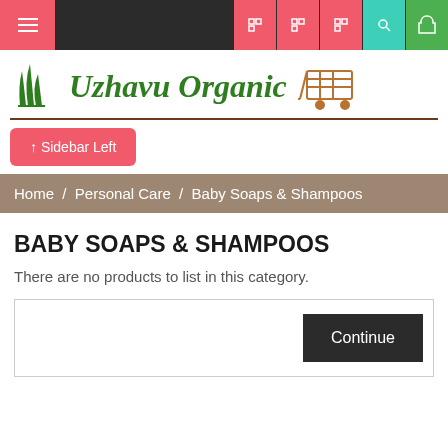[Figure (screenshot): Website top navigation bar with hamburger menu on left and icon buttons on right (pink, teal, green)]
[Figure (logo): Uzhavu Organic logo with green italic bold text, grass illustration on left, shopping cart icon on right, brown underline]
↑ Sidebar Left
Home / Personal Care / Baby Soaps & Shampoos
BABY SOAPS & SHAMPOOS
There are no products to list in this category.
Continue